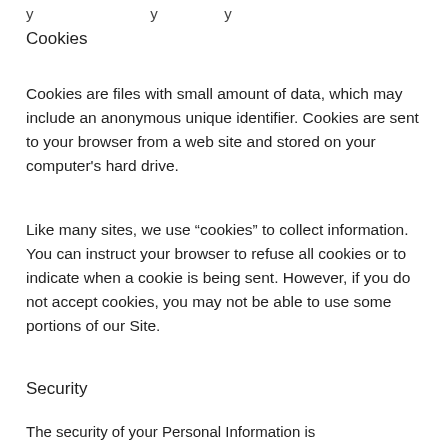…y … y … y …
Cookies
Cookies are files with small amount of data, which may include an anonymous unique identifier. Cookies are sent to your browser from a web site and stored on your computer's hard drive.
Like many sites, we use “cookies” to collect information. You can instruct your browser to refuse all cookies or to indicate when a cookie is being sent. However, if you do not accept cookies, you may not be able to use some portions of our Site.
Security
The security of your Personal Information is